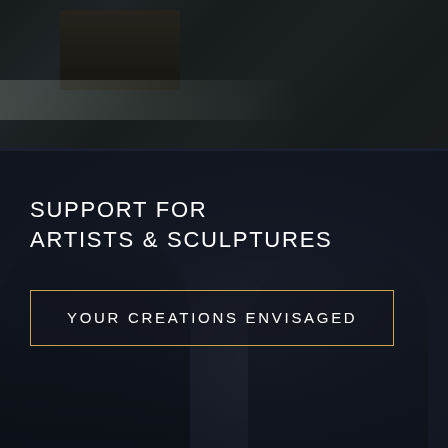[Figure (photo): Top section showing a dark, moody close-up photograph of what appears to be a framed artwork or furniture piece with dark tones and subtle green/grey ambient light]
[Figure (photo): Bottom section showing a dark studio scene with silhouetted figures of artists or sculptors working, overlaid with a dark navy/charcoal semi-transparent filter]
SUPPORT FOR ARTISTS & SCULPTURES
YOUR CREATIONS ENVISAGED